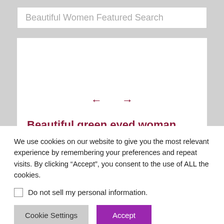Beautiful Women Featured Search
[Figure (screenshot): White content card with left and right arrow navigation symbols in dark red, and a dark red heading text below them]
Beautiful green eyed woman wearing a white top and denim jeans
We use cookies on our website to give you the most relevant experience by remembering your preferences and repeat visits. By clicking “Accept”, you consent to the use of ALL the cookies.
Do not sell my personal information.
Cookie Settings    Accept